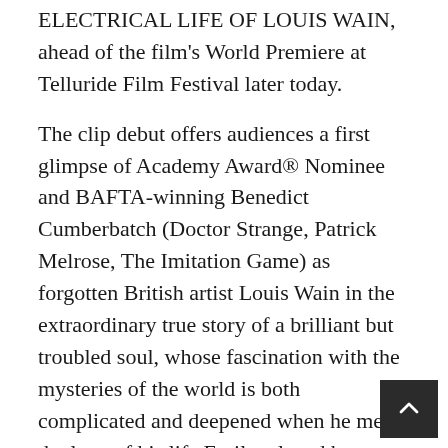ELECTRICAL LIFE OF LOUIS WAIN, ahead of the film's World Premiere at Telluride Film Festival later today.
The clip debut offers audiences a first glimpse of Academy Award® Nominee and BAFTA-winning Benedict Cumberbatch (Doctor Strange, Patrick Melrose, The Imitation Game) as forgotten British artist Louis Wain in the extraordinary true story of a brilliant but troubled soul, whose fascination with the mysteries of the world is both complicated and deepened when he meets the love of his life Emily, played by Emmy® Winner and BAFTA Nominee Claire Foy (The Crown, First Man,